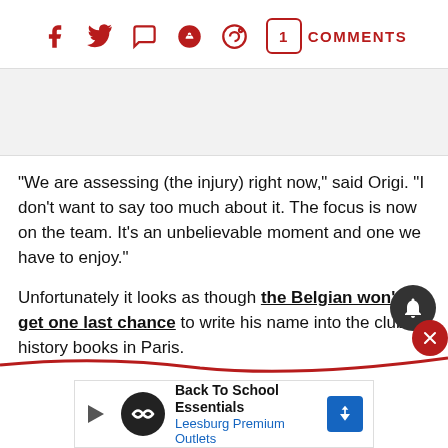[Figure (other): Social media sharing bar with icons for Facebook, Twitter, WhatsApp, Reddit, Pinterest, a comment bubble showing 1, and COMMENTS label in dark red]
[Figure (other): Gray advertisement placeholder banner]
“We are assessing (the injury) right now,” said Origi. “I don’t want to say too much about it. The focus is now on the team. It’s an unbelievable moment and one we have to enjoy.”
Unfortunately it looks as though the Belgian won’t get one last chance to write his name into the club’s history books in Paris.
[Figure (other): Bottom advertisement banner for Back To School Essentials at Leesburg Premium Outlets]